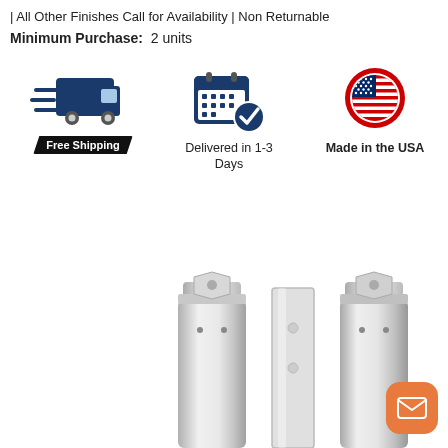| All Other Finishes Call for Availability | Non Returnable
Minimum Purchase: 2 units
[Figure (infographic): Three icons in a row: Free Shipping (truck with speed lines and black badge), Delivered in 1-3 Days (calendar with checkmark), Made in the USA (circular US flag badge)]
[Figure (photo): Product photo showing two chrome cylindrical hinge/pivot hardware pieces with a metal bracket plate between them, viewed from above, on white background]
[Figure (other): Orange rounded square mail/envelope button in bottom right corner]